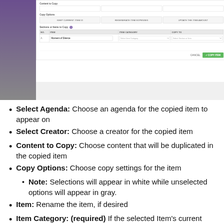[Figure (screenshot): Screenshot of a UI dialog for copying an agenda item, showing fields for Content to Copy, Copy Options, and a table of Sections or Items to Copy with columns NO., ITEM, ITEM CATEGORY, COPY TO. Cancel and Copy Item buttons at bottom.]
Select Agenda: Choose an agenda for the copied item to appear on
Select Creator: Choose a creator for the copied item
Content to Copy: Choose content that will be duplicated in the copied item
Copy Options: Choose copy settings for the item
Note: Selections will appear in white while unselected options will appear in gray.
Item: Rename the item, if desired
Item Category: (required) If the selected Item's current Item Category is available on the destination Meeting Type, that Item Category will be shown as the default selection. A user can change the Item Category if desired. If the current